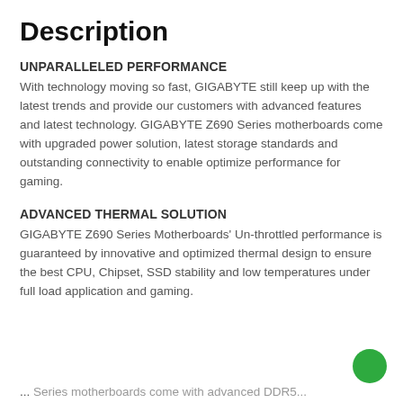Description
UNPARALLELED PERFORMANCE
With technology moving so fast, GIGABYTE still keep up with the latest trends and provide our customers with advanced features and latest technology. GIGABYTE Z690 Series motherboards come with upgraded power solution, latest storage standards and outstanding connectivity to enable optimize performance for gaming.
ADVANCED THERMAL SOLUTION
GIGABYTE Z690 Series Motherboards' Un-throttled performance is guaranteed by innovative and optimized thermal design to ensure the best CPU, Chipset, SSD stability and low temperatures under full load application and gaming.
...